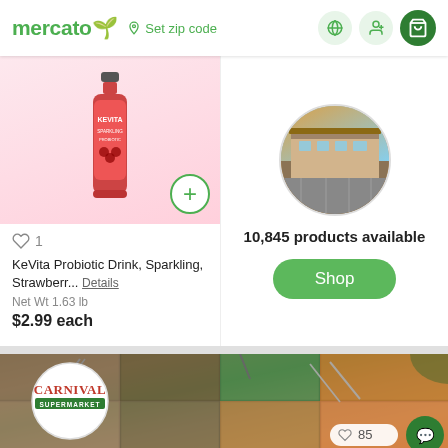mercato  Set zip code
[Figure (photo): KeVita sparkling probiotic drink bottle — pink/red label]
♡ 1
KeVita Probiotic Drink, Sparkling, Strawberr... Details
Net Wt 1.63 lb
$2.99 each
[Figure (photo): Outdoor store building photo in circular crop]
10,845 products available
Shop
[Figure (photo): Carnival Supermarket food buffet display with hot food trays, tongs, and logo overlay. Heart count: 85]